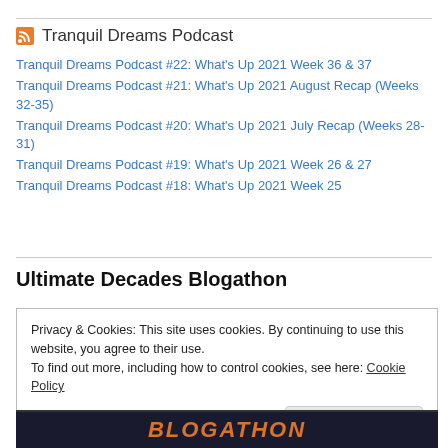Tranquil Dreams Podcast
Tranquil Dreams Podcast #22: What's Up 2021 Week 36 & 37
Tranquil Dreams Podcast #21: What's Up 2021 August Recap (Weeks 32-35)
Tranquil Dreams Podcast #20: What's Up 2021 July Recap (Weeks 28-31)
Tranquil Dreams Podcast #19: What's Up 2021 Week 26 & 27
Tranquil Dreams Podcast #18: What's Up 2021 Week 25
Ultimate Decades Blogathon
Privacy & Cookies: This site uses cookies. By continuing to use this website, you agree to their use.
To find out more, including how to control cookies, see here: Cookie Policy
Close and accept
[Figure (photo): Dark background with orange stylized text reading BLOGATHON]